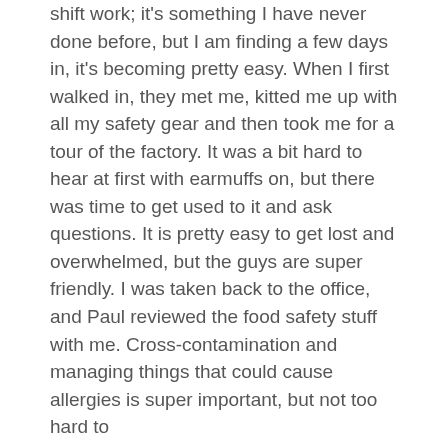shift work; it's something I have never done before, but I am finding a few days in, it's becoming pretty easy. When I first walked in, they met me, kitted me up with all my safety gear and then took me for a tour of the factory. It was a bit hard to hear at first with earmuffs on, but there was time to get used to it and ask questions. It is pretty easy to get lost and overwhelmed, but the guys are super friendly. I was taken back to the office, and Paul reviewed the food safety stuff with me. Cross-contamination and managing things that could cause allergies is super important, but not too hard to
FoodFlo International remains operational during the New Zealand Covid-19 response. Dismiss
I am definitely feeling settled now that I am in a bit of a rhythm. I know what I am actually doing, working with a